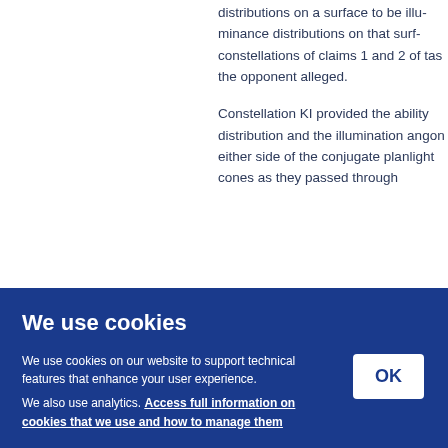distributions on a surface to be illu- luminance distributions on that surf- constellations of claims 1 and 2 of t- as the opponent alleged.
Constellation KI provided the ability distribution and the illumination ang- on either side of the conjugate plan- light cones as they passed through- …not be …f the c
ics un- was e- the F- sting- milar- reflec- hangi-
[Figure (screenshot): Cookie consent banner with dark blue background. Title: 'We use cookies'. Body text: 'We use cookies on our website to support technical features that enhance your user experience. We also use analytics. Access full information on cookies that we use and how to manage them' (link text bold underlined). OK button on the right side in white.]